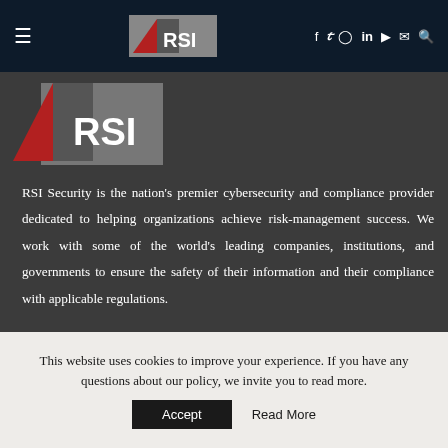RSI Security navigation bar with hamburger menu, RSI logo, and social icons (f, twitter, instagram, linkedin, youtube, email, search)
[Figure (logo): RSI Security logo — large version with red triangle and grey rectangle on dark background]
RSI Security is the nation’s premier cybersecurity and compliance provider dedicated to helping organizations achieve risk-management success. We work with some of the world’s leading companies, institutions, and governments to ensure the safety of their information and their compliance with applicable regulations.
AWARDS & RECOGNITION
This website uses cookies to improve your experience. If you have any questions about our policy, we invite you to read more.